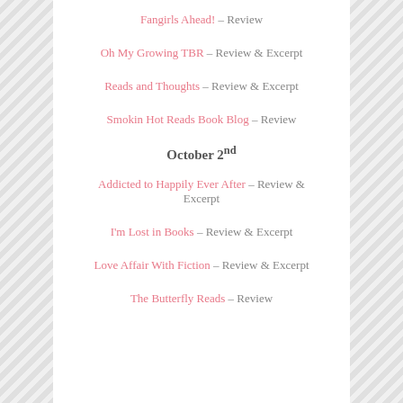Fangirls Ahead! – Review
Oh My Growing TBR – Review & Excerpt
Reads and Thoughts – Review & Excerpt
Smokin Hot Reads Book Blog – Review
October 2nd
Addicted to Happily Ever After – Review & Excerpt
I'm Lost in Books – Review & Excerpt
Love Affair With Fiction – Review & Excerpt
The Butterfly Reads – Review